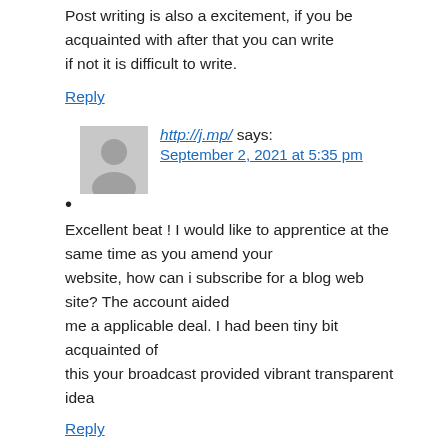Post writing is also a excitement, if you be acquainted with after that you can write if not it is difficult to write.
Reply
http://j.mp/ says: September 2, 2021 at 5:35 pm
Excellent beat ! I would like to apprentice at the same time as you amend your website, how can i subscribe for a blog web site? The account aided me a applicable deal. I had been tiny bit acquainted of this your broadcast provided vibrant transparent idea
Reply